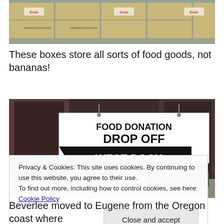[Figure (photo): Stacked cardboard boxes (Dole banana boxes) used to store food goods, viewed from below/side angle]
These boxes store all sorts of food goods, not bananas!
[Figure (photo): Photo of a Food Donation Drop Off West Dock sign with black arrow pointing left, hanging outside a building with dark glass doors]
Privacy & Cookies: This site uses cookies. By continuing to use this website, you agree to their use.
To find out more, including how to control cookies, see here: Cookie Policy
Beverlee moved to Eugene from the Oregon coast where